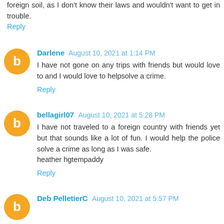foreign soil, as I don't know their laws and wouldn't want to get in trouble.
Reply
Darlene August 10, 2021 at 1:14 PM
I have not gone on any trips with friends but would love to and I would love to helpsolve a crime.
Reply
bellagirl07 August 10, 2021 at 5:28 PM
I have not traveled to a foreign country with friends yet but that sounds like a lot of fun. I would help the police solve a crime as long as I was safe.
heather hgtempaddy
Reply
Deb PelletierC August 10, 2021 at 5:57 PM